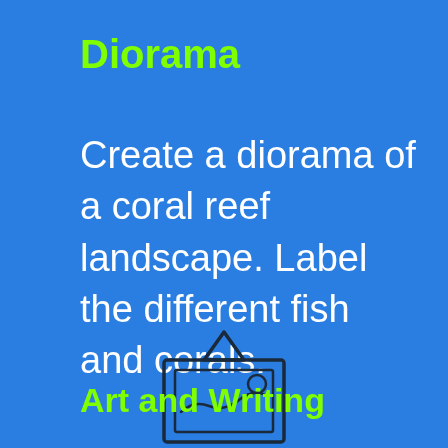Diorama
Create a diorama of a coral reef landscape. Label the different fish and corals.
[Figure (illustration): Line art icon of a framed picture hanging on a wall, with a landscape scene inside showing wavy hills and a circle (sun or moon).]
Art and Writing